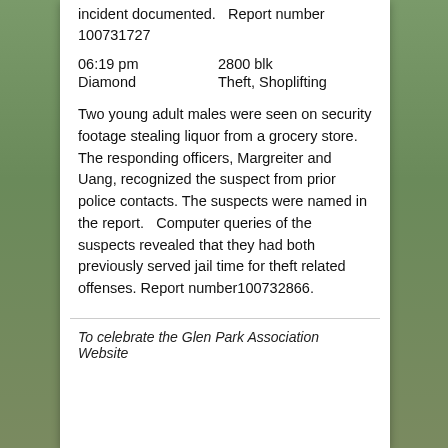incident documented.   Report number 100731727
06:19 pm    2800 blk
Diamond    Theft, Shoplifting
Two young adult males were seen on security footage stealing liquor from a grocery store.   The responding officers, Margreiter and Uang, recognized the suspect from prior police contacts.  The suspects were named in the report.   Computer queries of the suspects revealed that they had both previously served jail time for theft related offenses. Report number100732866.
To celebrate the Glen Park Association Website